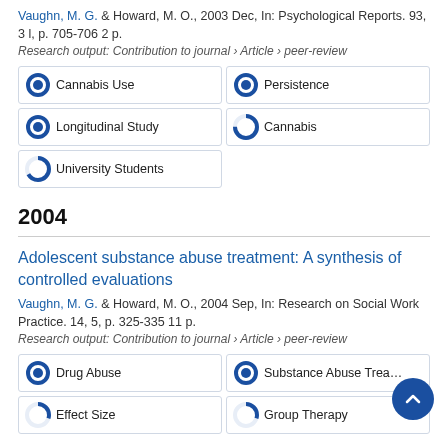Vaughn, M. G. & Howard, M. O., 2003 Dec, In: Psychological Reports. 93, 3 l, p. 705-706 2 p.
Research output: Contribution to journal › Article › peer-review
[Figure (infographic): Keyword badges with donut/pie icons showing percentage fill: Cannabis Use 100%, Persistence 100%, Longitudinal Study 100%, Cannabis ~75%, University Students ~65%]
2004
Adolescent substance abuse treatment: A synthesis of controlled evaluations
Vaughn, M. G. & Howard, M. O., 2004 Sep, In: Research on Social Work Practice. 14, 5, p. 325-335 11 p.
Research output: Contribution to journal › Article › peer-review
[Figure (infographic): Keyword badges with donut/pie icons: Drug Abuse 100%, Substance Abuse Treatment 100%, Effect Size ~30%, Group Therapy ~30%]